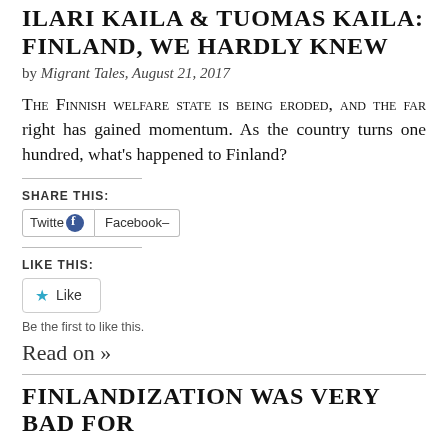ILARI KAILA & TUOMAS KAILA: FINLAND, WE HARDLY KNEW
by Migrant Tales, August 21, 2017
The Finnish welfare state is being eroded, and the far right has gained momentum. As the country turns one hundred, what's happened to Finland?
SHARE THIS:
[Figure (other): Twitter and Facebook share buttons]
LIKE THIS:
[Figure (other): Like button with star icon]
Be the first to like this.
Read on »
FINLANDIZATION WAS VERY BAD FOR